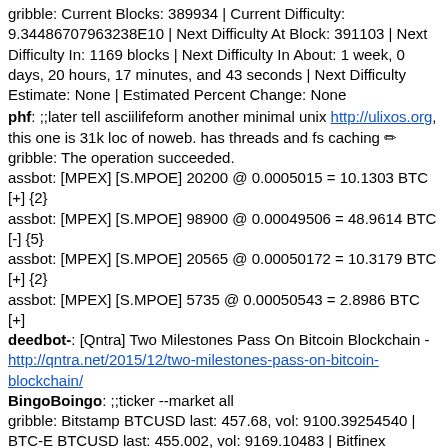gribble: Current Blocks: 389934 | Current Difficulty: 9.34486707963238E10 | Next Difficulty At Block: 391103 | Next Difficulty In: 1169 blocks | Next Difficulty In About: 1 week, 0 days, 20 hours, 17 minutes, and 43 seconds | Next Difficulty Estimate: None | Estimated Percent Change: None
phf: ;;later tell asciilifeform another minimal unix http://ulixos.org, this one is 31k loc of noweb. has threads and fs caching
gribble: The operation succeeded.
assbot: [MPEX] [S.MPOE] 20200 @ 0.0005015 = 10.1303 BTC [+] {2}
assbot: [MPEX] [S.MPOE] 98900 @ 0.00049506 = 48.9614 BTC [-] {5}
assbot: [MPEX] [S.MPOE] 20565 @ 0.00050172 = 10.3179 BTC [+] {2}
assbot: [MPEX] [S.MPOE] 5735 @ 0.00050543 = 2.8986 BTC [+]
deedbot-: [Qntra] Two Milestones Pass On Bitcoin Blockchain - http://qntra.net/2015/12/two-milestones-pass-on-bitcoin-blockchain/
BingoBoingo: ;;ticker --market all
gribble: Bitstamp BTCUSD last: 457.68, vol: 9100.39254540 | BTC-E BTCUSD last: 455.002, vol: 9169.10483 | Bitfinex BTCUSD last: 457.26, vol: 23903.20851982 | CampBX BTCUSD last: 438.0, vol: 0.07037461 | BTCChina BTCUSD last: 465.946776, vol: 95604.35230000 | Kraken BTCUSD last: 456.98999, vol: 75.51392621 | Bitcoin-Central BTCUSD last: 448.376, vol: 43.78198127 | Volume-weighted last average: (1...